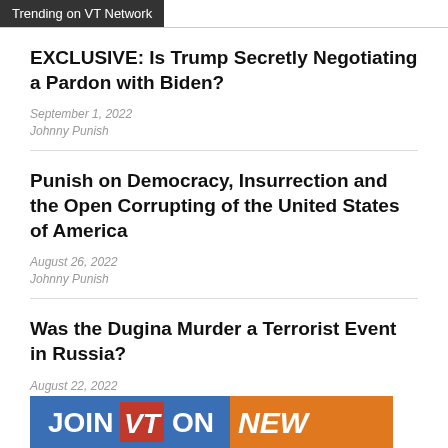Trending on VT Network
EXCLUSIVE: Is Trump Secretly Negotiating a Pardon with Biden?
September 1, 2022
Johnny Punish
Punish on Democracy, Insurrection and the Open Corrupting of the United States of America
August 26, 2022
Johnny Punish
Was the Dugina Murder a Terrorist Event in Russia?
August 22, 2022
General Manager
[Figure (logo): JOIN VT ON NEW banner with blue and orange background]